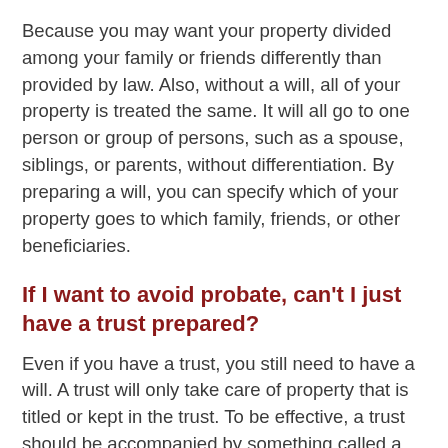Because you may want your property divided among your family or friends differently than provided by law. Also, without a will, all of your property is treated the same. It will all go to one person or group of persons, such as a spouse, siblings, or parents, without differentiation. By preparing a will, you can specify which of your property goes to which family, friends, or other beneficiaries.
If I want to avoid probate, can't I just have a trust prepared?
Even if you have a trust, you still need to have a will. A trust will only take care of property that is titled or kept in the trust. To be effective, a trust should be accompanied by something called a pour-over will to put any property that may have been forgotten into the trust upon your death. Also, using a trust just